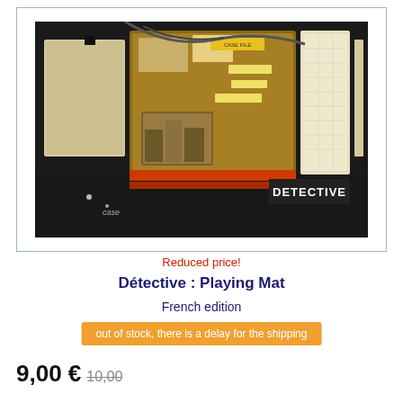[Figure (photo): Photo of Detective board game playing mat, a large game board open and displayed, showing a corkboard with investigation items, cards, a grid panel, and folders. The word DETECTIVE is visible on the right side.]
Reduced price!
Détective : Playing Mat
French edition
out of stock, there is a delay for the shipping
9,00 € 10,00